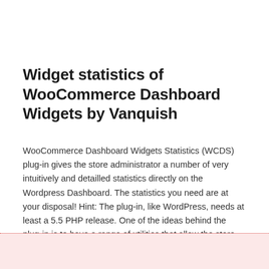Widget statistics of WooCommerce Dashboard Widgets by Vanquish
WooCommerce Dashboard Widgets Statistics (WCDS) plug-in gives the store administrator a number of very intuitively and detailled statistics directly on the Wordpress Dashboard. The statistics you need are at your disposal! Hint: The plug-in, like WordPress, needs at least a 5.5 PHP release. One of the ideas behind the plug-in is to have a range of utilities that allow the store administrator to see immediately: